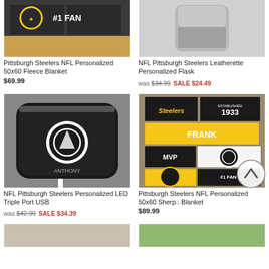[Figure (photo): Pittsburgh Steelers NFL Personalized 50x60 Fleece Blanket product image showing #1 FAN text]
Pittsburgh Steelers NFL Personalized 50x60 Fleece Blanket
$69.99
[Figure (photo): NFL Pittsburgh Steelers Leatherette Personalized Flask product image showing silver flask]
NFL Pittsburgh Steelers Leatherette Personalized Flask
was $34.99 SALE $24.49
[Figure (photo): NFL Pittsburgh Steelers Personalized LED Triple Port USB charger with Steelers logo and name ANTHONY]
NFL Pittsburgh Steelers Personalized LED Triple Port USB
was $42.99 SALE $34.39
[Figure (photo): Pittsburgh Steelers NFL Personalized 50x60 Sherpa Blanket with FRANK, MVP, #1 FAN text and Steelers logos]
Pittsburgh Steelers NFL Personalized 50x60 Sherpa Blanket
$89.99
[Figure (photo): Partial product image bottom left]
[Figure (photo): Partial product image bottom right]